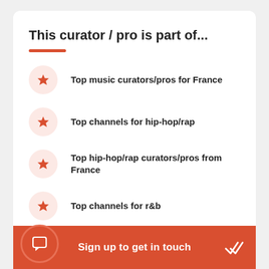This curator / pro is part of...
Top music curators/pros for France
Top channels for hip-hop/rap
Top hip-hop/rap curators/pros from France
Top channels for r&b
Sign up to get in touch